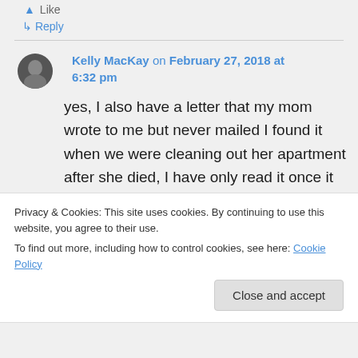Like
↳ Reply
Kelly MacKay on February 27, 2018 at 6:32 pm
yes, I also have a letter that my mom wrote to me but never mailed I found it when we were cleaning out her apartment after she died, I have only read it once it makes me cry
Privacy & Cookies: This site uses cookies. By continuing to use this website, you agree to their use.
To find out more, including how to control cookies, see here: Cookie Policy
Close and accept